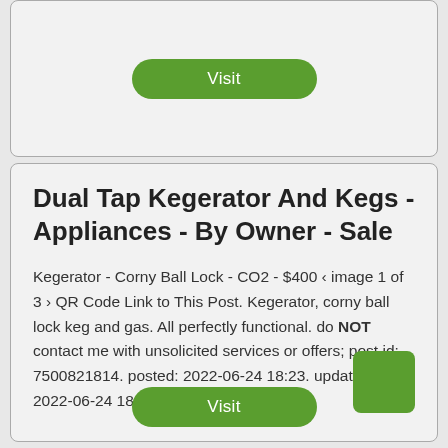[Figure (other): Top card with a green Visit button]
Dual Tap Kegerator And Kegs - Appliances - By Owner - Sale
Kegerator - Corny Ball Lock - CO2 - $400 ‹ image 1 of 3 › QR Code Link to This Post. Kegerator, corny ball lock keg and gas. All perfectly functional. do NOT contact me with unsolicited services or offers; post id: 7500821814. posted: 2022-06-24 18:23. updated: 2022-06-24 18:37. ♥ best of .
[Figure (other): Green Visit button at bottom of listing card]